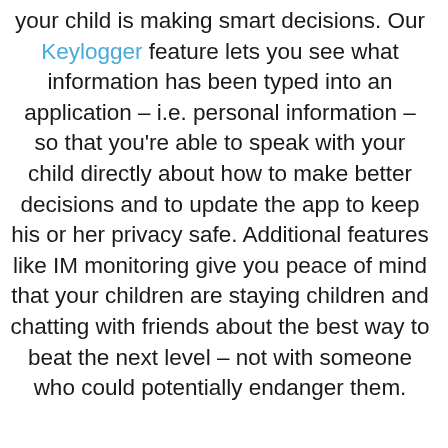your child is making smart decisions. Our Keylogger feature lets you see what information has been typed into an application – i.e. personal information – so that you're able to speak with your child directly about how to make better decisions and to update the app to keep his or her privacy safe. Additional features like IM monitoring give you peace of mind that your children are staying children and chatting with friends about the best way to beat the next level – not with someone who could potentially endanger them.